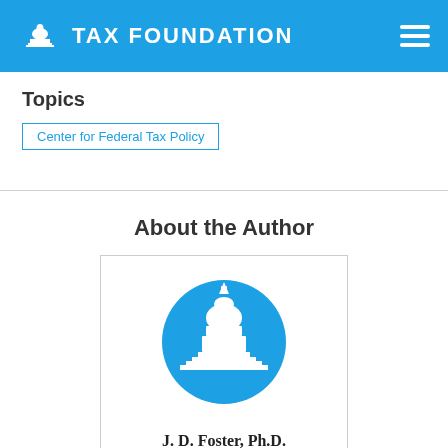TAX FOUNDATION
Topics
Center for Federal Tax Policy
About the Author
[Figure (logo): Tax Foundation Capitol building logo — white silhouette of US Capitol dome on a blue circle background]
J. D. Foster, Ph.D.